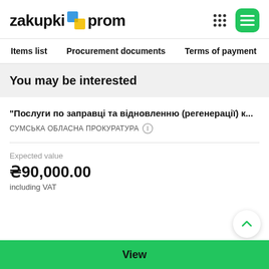zakupki prom
Items list  Procurement documents  Terms of payment
You may be interested
"Послуги по заправці та відновленню (регенерації) к...
СУМСЬКА ОБЛАСНА ПРОКУРАТУРА
Expected value
₴90,000.00
including VAT
View